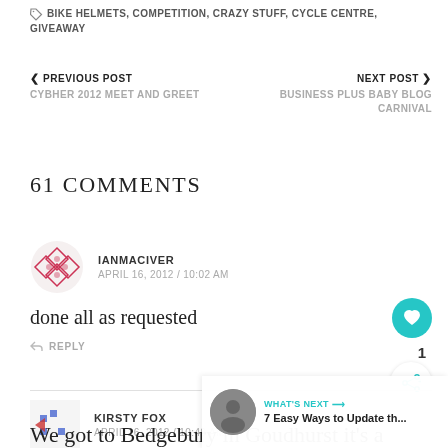BIKE HELMETS, COMPETITION, CRAZY STUFF, CYCLE CENTRE, GIVEAWAY
< PREVIOUS POST
CYBHER 2012 MEET AND GREET
NEXT POST >
BUSINESS PLUS BABY BLOG CARNIVAL
61 COMMENTS
IANMACIVER
APRIL 16, 2012 / 10:02 AM
done all as requested
REPLY
KIRSTY FOX
APRIL 16, 2012 / 10:49 AM
We got to Bedgebury in Goudhurst it's a